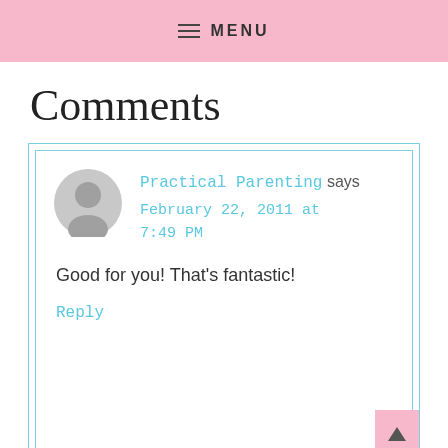MENU
Comments
Practical Parenting says
February 22, 2011 at 7:49 PM

Good for you! That's fantastic!

Reply